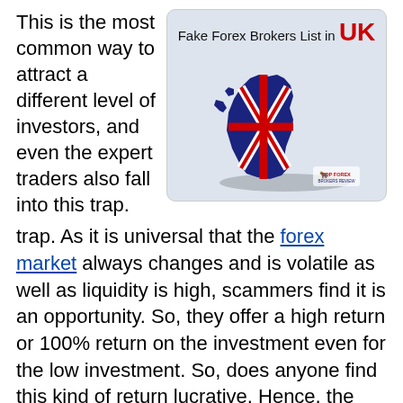This is the most common way to attract a different level of investors, and even the expert traders also fall into this trap.
[Figure (infographic): Infographic showing a 3D UK map with Union Jack flag overlay. Title reads 'Fake Forex Brokers List in UK' with UK in red bold text. Logo of TopForexBrokersReview in bottom right corner.]
trap. As it is universal that the forex market always changes and is volatile as well as liquidity is high, scammers find it is an opportunity. So, they offer a high return or 100% return on the investment even for the low investment. So, does anyone find this kind of return lucrative. Hence, the investors tend to put money on that. But, the rule of thumb for